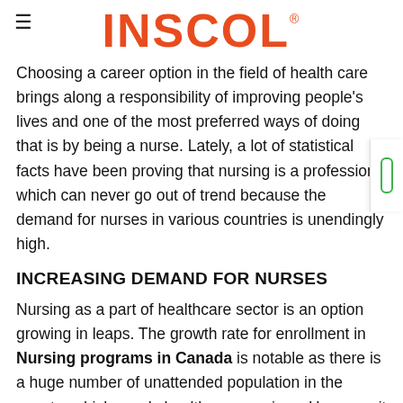INSCOL
Choosing a career option in the field of health care brings along a responsibility of improving people's lives and one of the most preferred ways of doing that is by being a nurse. Lately, a lot of statistical facts have been proving that nursing is a profession which can never go out of trend because the demand for nurses in various countries is unendingly high.
INCREASING DEMAND FOR NURSES
Nursing as a part of healthcare sector is an option growing in leaps. The growth rate for enrollment in Nursing programs in Canada is notable as there is a huge number of unattended population in the country which needs healthcare services. However, it is also worth noting that